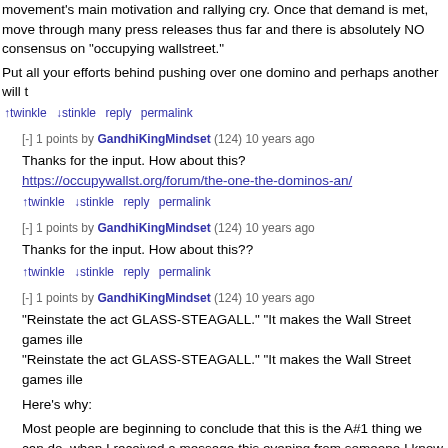movement's main motivation and rallying cry. Once that demand is met, move through many press releases thus far and there is absolutely NO consensus on "occupying wallstreet."
Put all your efforts behind pushing over one domino and perhaps another will t
↑twinkle ↓stinkle reply permalink
[-] 1 points by GandhiKingMindset (124) 10 years ago
Thanks for the input. How about this? https://occupywallst.org/forum/the-one-the-dominos-an/
↑twinkle ↓stinkle reply permalink
[-] 1 points by GandhiKingMindset (124) 10 years ago
Thanks for the input. How about this??
↑twinkle ↓stinkle reply permalink
[-] 1 points by GandhiKingMindset (124) 10 years ago
"Reinstate the act GLASS-STEAGALL." "It makes the Wall Street games ille
"Reinstate the act GLASS-STEAGALL." "It makes the Wall Street games ille
Here's why:
Most people are beginning to conclude that this is the A#1 thing we can do. when I received a message this evening from someone I know on the inside banking firms we all know. Here's what he said:
"If you really want to drive the higher ups in my office and others absolutely n relentlessly about reinstating Glass-Steagall and Congress passing H.R. 148
He said if we put this on a ton of signs, talk about it relentlessly to the press, "give the guys on the top floors in the corner offices of these giant investmer